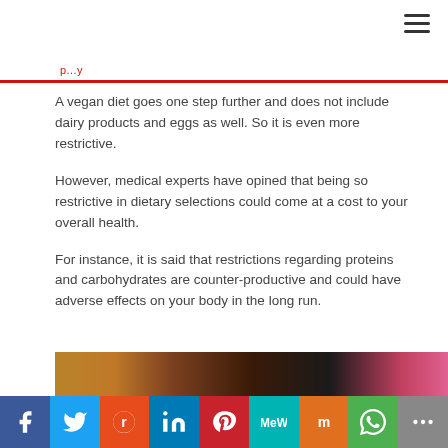...p...y
A vegan diet goes one step further and does not include dairy products and eggs as well. So it is even more restrictive.
However, medical experts have opined that being so restrictive in dietary selections could come at a cost to your overall health.
For instance, it is said that restrictions regarding proteins and carbohydrates are counter-productive and could have adverse effects on your body in the long run.
[Figure (photo): Partial photo strip at bottom of page, showing people or food images]
Social sharing bar: Facebook, Twitter, Reddit, LinkedIn, Pinterest, MeWe, Mix, WhatsApp, More